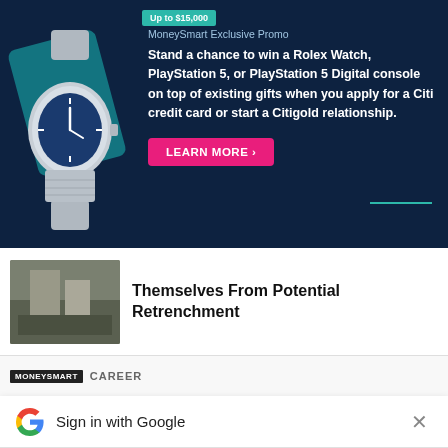[Figure (screenshot): MoneySmart advertisement banner with dark navy background showing a Rolex watch image on the left, promotional text about winning prizes with Citi credit card or Citigold relationship, and a pink LEARN MORE button. An 'Up to $15,000' teal badge appears at top.]
Themselves From Potential Retrenchment
[Figure (photo): Partially visible building/office photo thumbnail on the left side of the article strip.]
MoneySmart    CAREER
Sign in with Google
Use your Google Account to sign in to MoneySmart
No more passwords to remember. Signing in is fast, simple and secure.
[Figure (illustration): Google security key illustration with a golden key and colorful overlapping circles in blue, green, yellow and red/pink]
Continue